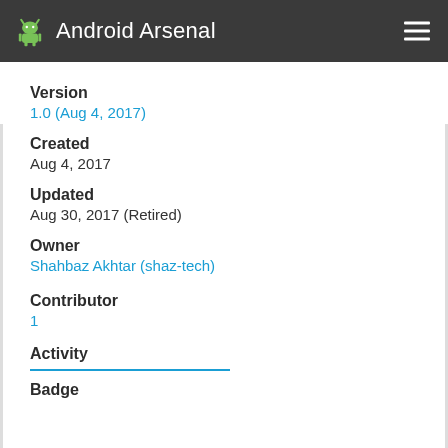Android Arsenal
Version
1.0 (Aug 4, 2017)
Created
Aug 4, 2017
Updated
Aug 30, 2017 (Retired)
Owner
Shahbaz Akhtar (shaz-tech)
Contributor
1
Activity
Badge